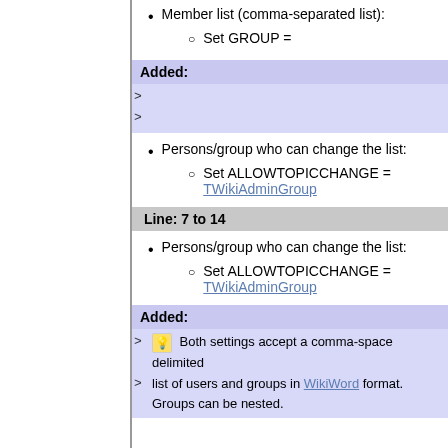Member list (comma-separated list):
Set GROUP =
Added:
>
>
Persons/group who can change the list:
Set ALLOWTOPICCHANGE = TWikiAdminGroup
Line: 7 to 14
Persons/group who can change the list:
Set ALLOWTOPICCHANGE = TWikiAdminGroup
Added:
> 💡 Both settings accept a comma-space delimited list of users and groups in WikiWord format. Groups can be nested.